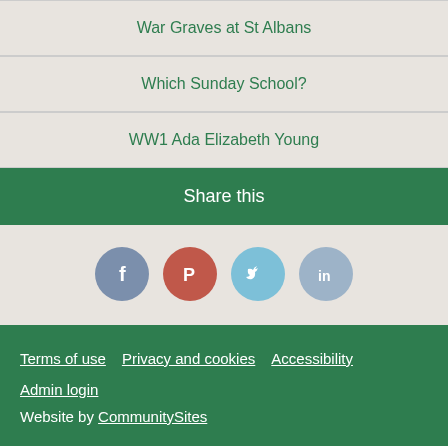War Graves at St Albans
Which Sunday School?
WW1 Ada Elizabeth Young
Share this
[Figure (infographic): Four social media share icons: Facebook (blue-grey circle with f), Pinterest (red circle with P), Twitter (light blue circle with bird), LinkedIn (grey-blue circle with in)]
Terms of use   Privacy and cookies   Accessibility
Admin login
Website by CommunitySites